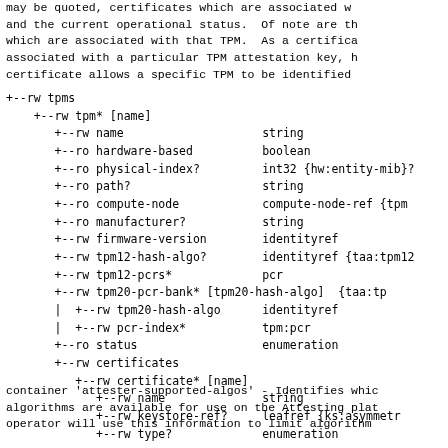may be quoted, certificates which are associated w
and the current operational status.  Of note are th
which are associated with that TPM.  As a certifica
associated with a particular TPM attestation key, h
certificate allows a specific TPM to be identified
+--rw tpms
    +--rw tpm* [name]
       +--rw name                    string
       +--ro hardware-based          boolean
       +--ro physical-index?         int32 {hw:entity-mib}?
       +--ro path?                   string
       +--ro compute-node            compute-node-ref {tpm
       +--ro manufacturer?           string
       +--rw firmware-version        identityref
       +--rw tpm12-hash-algo?        identityref {taa:tpm12
       +--rw tpm12-pcrs*             pcr
       +--rw tpm20-pcr-bank* [tpm20-hash-algo]  {taa:tp
       |  +--rw tpm20-hash-algo      identityref
       |  +--rw pcr-index*           tpm:pcr
       +--ro status                  enumeration
       +--rw certificates
          +--rw certificate* [name]
             +--rw name              string
             +--rw keystore-ref?     leafref {ks:asymmetr
             +--rw type?             enumeration
container 'attester-supported-algos' - Identifies whic
algorithms are available for use on the Attesting plat
operator will use this information to limit algorithm